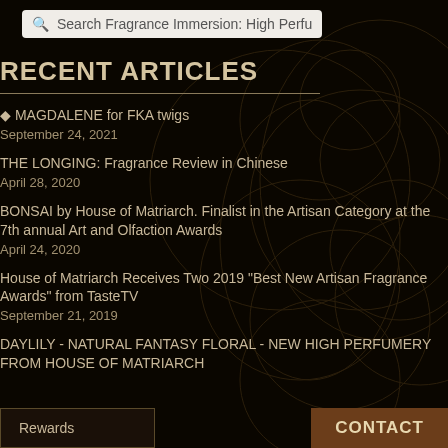Search Fragrance Immersion: High Perfumery
RECENT ARTICLES
♦ MAGDALENE for FKA twigs
September 24, 2021
THE LONGING: Fragrance Review in Chinese
April 28, 2020
BONSAI by House of Matriarch. Finalist in the Artisan Category at the 7th annual Art and Olfaction Awards
April 24, 2020
House of Matriarch Receives Two 2019 "Best New Artisan Fragrance Awards" from TasteTV
September 21, 2019
DAYLILY - NATURAL FANTASY FLORAL - NEW HIGH PERFUMERY FROM HOUSE OF MATRIARCH
Rewards    CONTACT